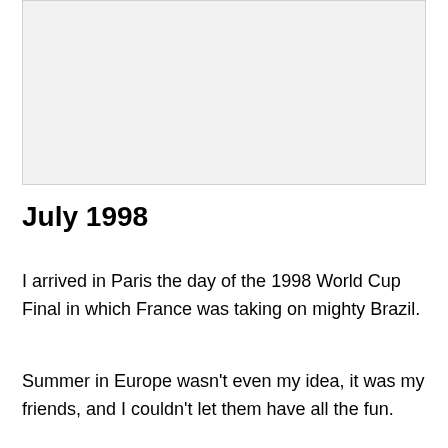[Figure (photo): Image placeholder area at top of page, light gray background]
July 1998
I arrived in Paris the day of the 1998 World Cup Final in which France was taking on mighty Brazil.
Summer in Europe wasn't even my idea, it was my friends, and I couldn't let them have all the fun.